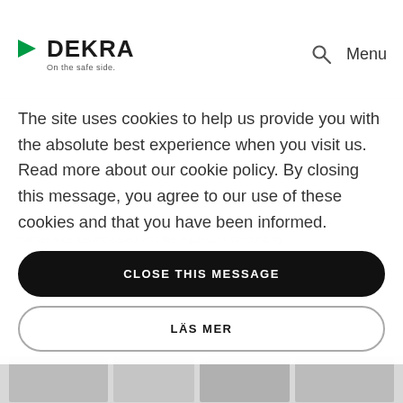[Figure (logo): DEKRA logo with green arrow/play-button icon and tagline 'On the safe side.']
through pro-active traffic safety systems are installed to lifts, and DEKRA regularly inspects these safety systems so that they actually work when needed.
The site uses cookies to help us provide you with the absolute best experience when you visit us. Read more about our cookie policy. By closing this message, you agree to our use of these cookies and that you have been informed.
CLOSE THIS MESSAGE
LÄS MER